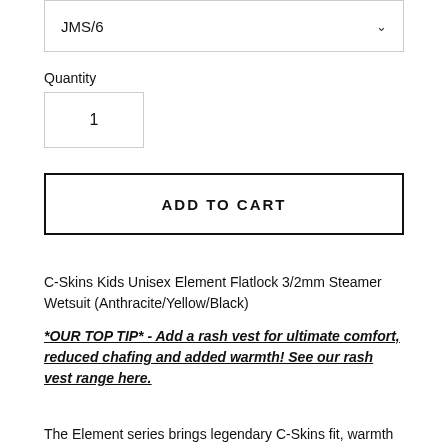JMS/6
Quantity
1
ADD TO CART
C-Skins Kids Unisex Element Flatlock 3/2mm Steamer Wetsuit (Anthracite/Yellow/Black)
*OUR TOP TIP* - Add a rash vest for ultimate comfort, reduced chafing and added warmth!  See our rash vest range here.
The Element series brings legendary C-Skins fit, warmth and